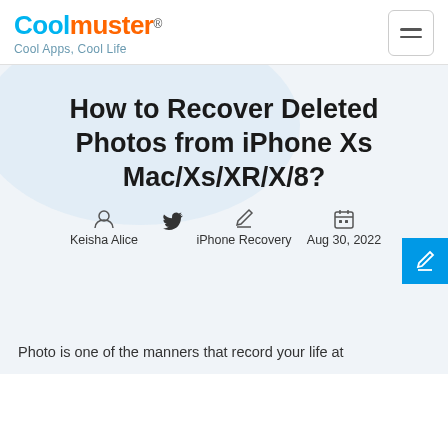Coolmuster® — Cool Apps, Cool Life
How to Recover Deleted Photos from iPhone Xs Mac/Xs/XR/X/8?
Keisha Alice  iPhone Recovery  Aug 30, 2022
Photo is one of the manners that record your life at